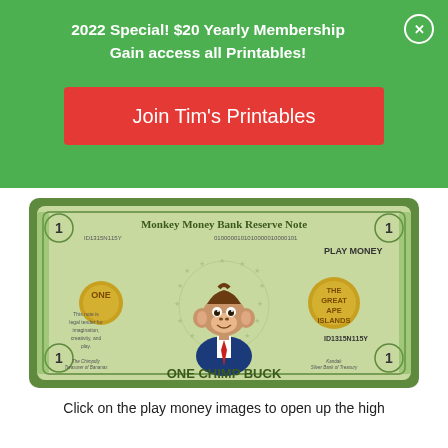2022 Special! $20 Yearly Membership
Gain access all Printables!
Join Tim's Printables
[Figure (illustration): A play money bill styled as 'Monkey Money Bank Reserve Note' — One Chimp Buck. Features a cartoon monkey/chimp in a suit with a red tie in the center. Has serial number ID1315N115Y, binary code 0100000101010000010000101, gold coin with ONE on the left, gold seal reading THE GREAT APE ISLANDS on the right, PLAY MONEY text, and ONE CHIMP BUCK at the bottom.]
Click on the play money images to open up the high